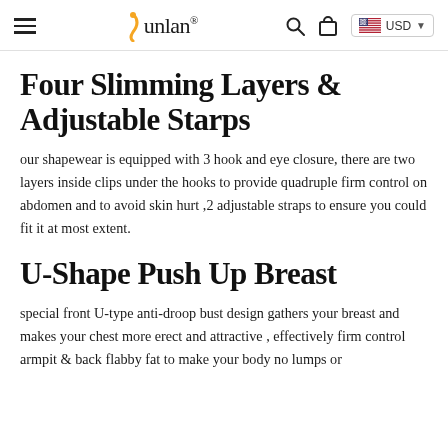Junlan® USD
Four Slimming Layers & Adjustable Starps
our shapewear is equipped with 3 hook and eye closure, there are two layers inside clips under the hooks to provide quadruple firm control on abdomen and to avoid skin hurt ,2 adjustable straps to ensure you could fit it at most extent.
U-Shape Push Up Breast
special front U-type anti-droop bust design gathers your breast and makes your chest more erect and attractive , effectively firm control armpit & back flabby fat to make your body no lumps or